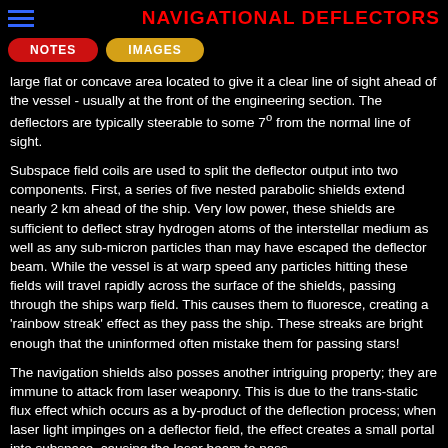NAVIGATIONAL DEFLECTORS
NOTES
IMAGES
large flat or concave area located to give it a clear line of sight ahead of the vessel - usually at the front of the engineering section. The deflectors are typically steerable to some 7° from the normal line of sight.
Subspace field coils are used to split the deflector output into two components. First, a series of five nested parabolic shields extend nearly 2 km ahead of the ship. Very low power, these shields are sufficient to deflect stray hydrogen atoms of the interstellar medium as well as any sub-micron particles than may have escaped the deflector beam. While the vessel is at warp speed any particles hitting these fields will travel rapidly across the surface of the shields, passing through the ships warp field. This causes them to fluoresce, creating a 'rainbow streak' effect as they pass the ship. These streaks are bright enough that the uninformed often mistake them for passing stars!
The navigation shields also posses another intriguing property; they are immune to attack from laser weaponry. This is due to the trans-static flux effect which occurs as a by-product of the deflection process; when laser light impinges on a deflector field, the effect creates a small portal into subspace, causing the laser beam to pass